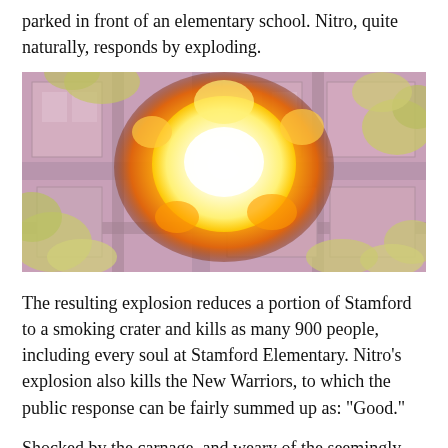parked in front of an elementary school. Nitro, quite naturally, responds by exploding.
[Figure (illustration): Aerial comic book illustration of a massive explosion centered over a city block, with a bright white-yellow fireball and mushroom cloud, surrounded by buildings and streets shown from above, with yellowish-green smoke clouds at the edges.]
The resulting explosion reduces a portion of Stamford to a smoking crater and kills as many 900 people, including every soul at Stamford Elementary. Nitro's explosion also kills the New Warriors, to which the public response can be fairly summed up as: "Good."
Shocked by the carnage, and weary of the seemingly endless and incredibly destructive heroes-versus-villains-versus-aliens super battles, the public demands accountability from its ostensible